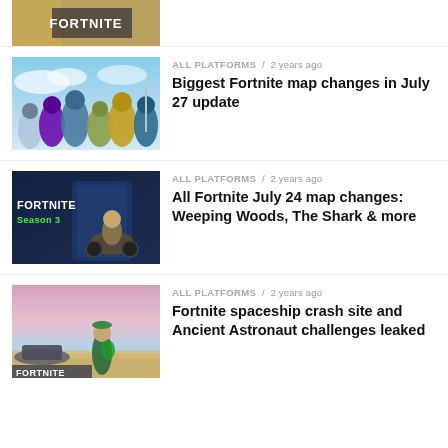[Figure (screenshot): Partial thumbnail of a Fortnite article, showing the top portion cut off with the Fortnite logo banner]
[Figure (screenshot): Thumbnail image showing Fortnite characters grouped together against a sky background]
ALL PLATFORMS / 2 years ago
Biggest Fortnite map changes in July 27 update
[Figure (screenshot): Thumbnail image showing Fortnite Season 3 branding with a character on a motorcycle]
ALL PLATFORMS / 2 years ago
All Fortnite July 24 map changes: Weeping Woods, The Shark & more
[Figure (screenshot): Thumbnail image showing a Fortnite character on a beach/island landscape with spaceship debris]
ALL PLATFORMS / 2 years ago
Fortnite spaceship crash site and Ancient Astronaut challenges leaked